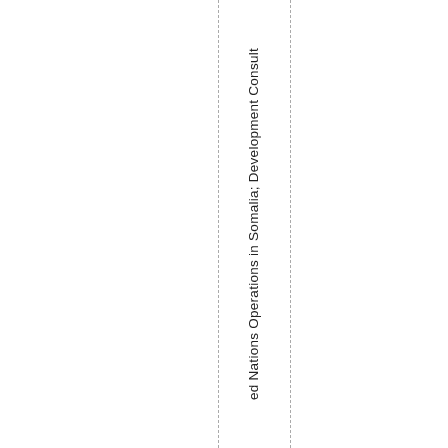ed Nations Operations in Somalia; Development Consult